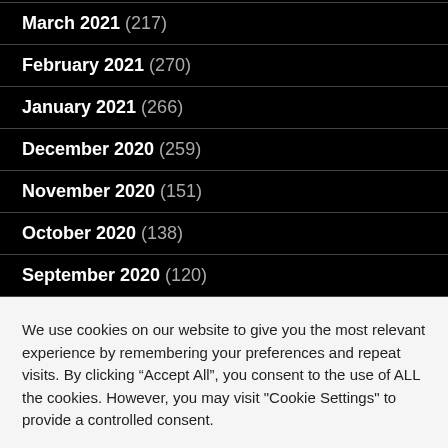March 2021 (217)
February 2021 (270)
January 2021 (266)
December 2020 (259)
November 2020 (151)
October 2020 (138)
September 2020 (120)
We use cookies on our website to give you the most relevant experience by remembering your preferences and repeat visits. By clicking “Accept All”, you consent to the use of ALL the cookies. However, you may visit "Cookie Settings" to provide a controlled consent.
Cookie Settings | Accept All